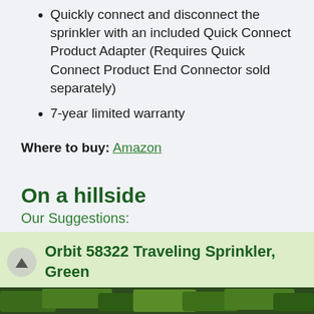Quickly connect and disconnect the sprinkler with an included Quick Connect Product Adapter (Requires Quick Connect Product End Connector sold separately)
7-year limited warranty
Where to buy: Amazon
On a hillside
Our Suggestions:
Orbit 58322 Traveling Sprinkler, Green
[Figure (photo): Bottom strip showing a photo of green foliage/garden scene]